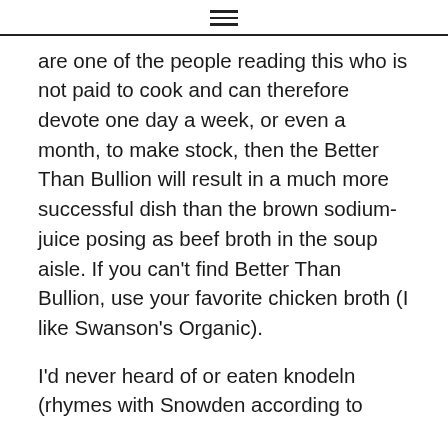≡
are one of the people reading this who is not paid to cook and can therefore devote one day a week, or even a month, to make stock, then the Better Than Bullion will result in a much more successful dish than the brown sodium-juice posing as beef broth in the soup aisle. If you can't find Better Than Bullion, use your favorite chicken broth (I like Swanson's Organic).
I'd never heard of or eaten knodeln (rhymes with Snowden according to